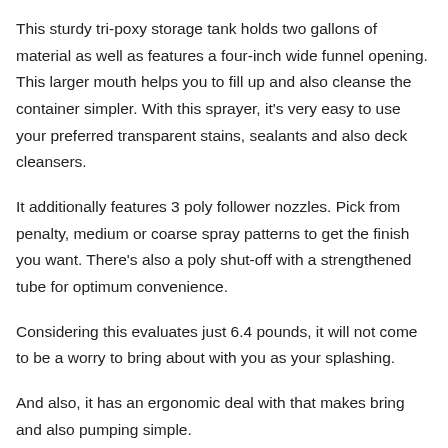This sturdy tri-poxy storage tank holds two gallons of material as well as features a four-inch wide funnel opening. This larger mouth helps you to fill up and also cleanse the container simpler. With this sprayer, it's very easy to use your preferred transparent stains, sealants and also deck cleansers.
It additionally features 3 poly follower nozzles. Pick from penalty, medium or coarse spray patterns to get the finish you want. There's also a poly shut-off with a strengthened tube for optimum convenience.
Considering this evaluates just 6.4 pounds, it will not come to be a worry to bring about with you as your splashing.
And also, it has an ergonomic deal with that makes bring and also pumping simple.